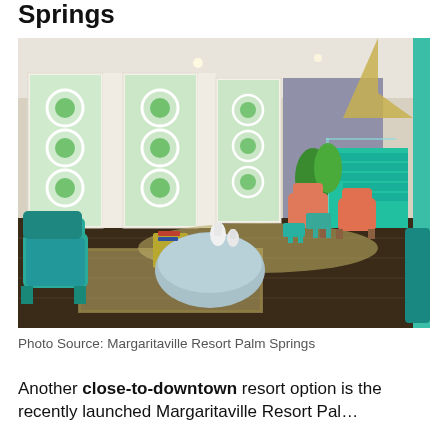Springs
[Figure (photo): Interior lobby of Margaritaville Resort Palm Springs showing colorful mid-century modern decor with teal, coral and orange chairs, decorative white lattice panels with green tropical motifs, teal staircase, and warm wood floors.]
Photo Source: Margaritaville Resort Palm Springs
Another close-to-downtown resort option is the recently launched Margaritaville Resort Pal…